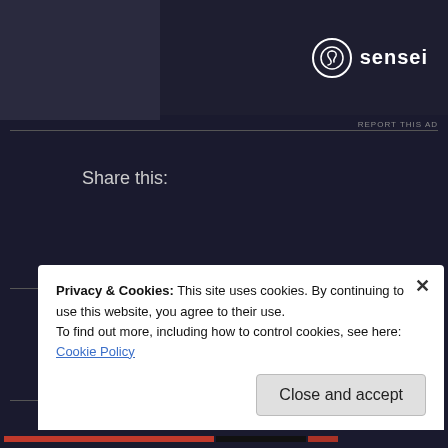[Figure (screenshot): Sensei advertisement banner with logo (tree in circle) and brand name 'sensei' on dark background]
REPORT THIS AD
Share this:
[Figure (other): Share button with share icon]
[Figure (other): Like button with blue star icon]
Be the first to like this.
Privacy & Cookies: This site uses cookies. By continuing to use this website, you agree to their use.
To find out more, including how to control cookies, see here:
Cookie Policy
Close and accept